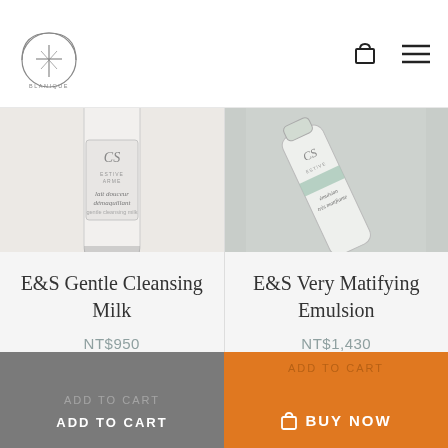BLANIQUE logo, cart icon, menu icon
[Figure (photo): E&S Gentle Cleansing Milk product bottle — white cylindrical bottle with grey label text on light background]
[Figure (photo): E&S Very Matifying Emulsion product tube — white tube with green accent on grey fabric background]
E&S Gentle Cleansing Milk
NT$950
E&S Very Matifying Emulsion
NT$1,430
ADD TO CART
BUY NOW